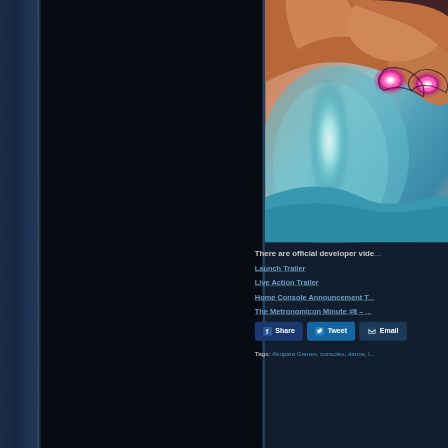[Figure (illustration): Game art illustration showing a character with glowing pink eyes, orange/brown skin tones, with a bright glowing light effect and teal/aqua background]
There are official developer vide...
Launch Trailer
Live Action Trailer
Home Console Announcement T...
The Metronomicon Minute #8 – ...
Share  Tweet  Email
Tags: Akupara Games, consoles, dance, ...